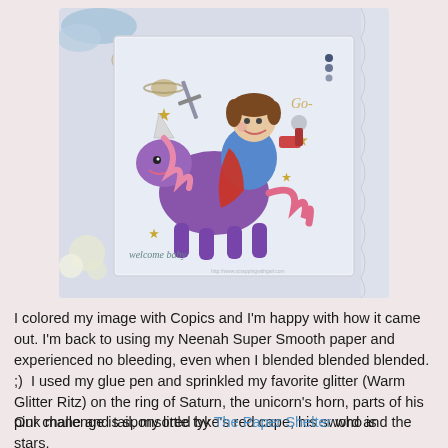[Figure (photo): A handmade greeting card featuring a cartoon child riding a purple unicorn in space, surrounded by stars and planets. The child wears a blue outfit and red cape, holds a sword and ray gun. Decorated with blue ribbon, pearl brad, and lace. Text reads 'welcome baby' and 'Created by Gail'.]
I colored my image with Copics and I'm happy with how it came out. I'm back to using my Neenah Super Smooth paper and experienced no bleeding, even when I blended blended blended.  ;)  I used my glue pen and sprinkled my favorite glitter (Warm Glitter Ritz) on the ring of Saturn, the unicorn's horn, parts of his pink mane and tail, my little tyke's red cape, his sword and the stars.
Our challenge is sponsored by The Paper Shelter who is